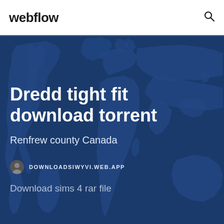webflow
[Figure (map): World map silhouette in blue tones used as background for hero section]
Dredd tight fit download torrent
Renfrew county Canada
DOWNLOADSIWYVI.WEB.APP
Download sims 4 rar file